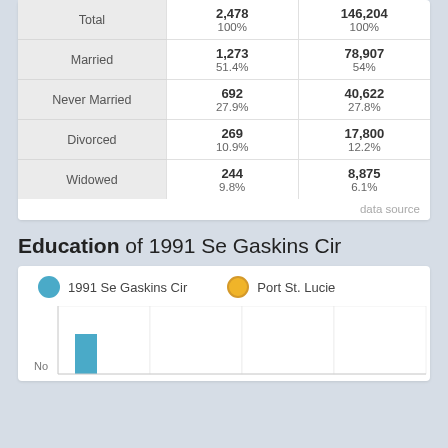|  | 1991 Se Gaskins Cir | Port St. Lucie |
| --- | --- | --- |
| Total | 2,478
100% | 146,204
100% |
| Married | 1,273
51.4% | 78,907
54% |
| Never Married | 692
27.9% | 40,622
27.8% |
| Divorced | 269
10.9% | 17,800
12.2% |
| Widowed | 244
9.8% | 8,875
6.1% |
data source
Education of 1991 Se Gaskins Cir
[Figure (grouped-bar-chart): Education of 1991 Se Gaskins Cir]